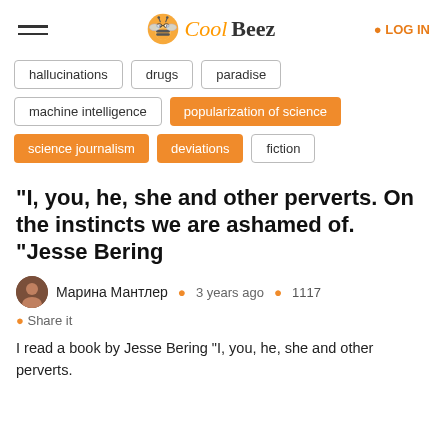CoolBeez | LOG IN
hallucinations
drugs
paradise
machine intelligence
popularization of science
science journalism
deviations
fiction
“I, you, he, she and other perverts. On the instincts we are ashamed of. “Jesse Bering
Марина Мантлер   3 years ago   1117
Share it
I read a book by Jesse Bering “I, you, he, she and other perverts.